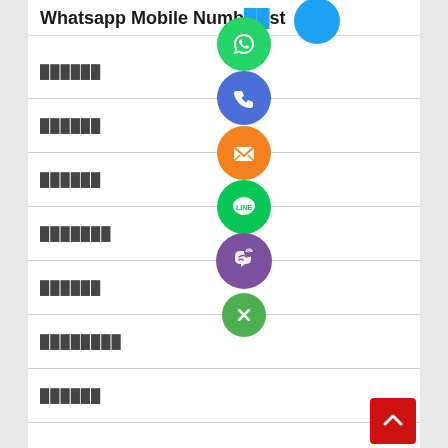Whatsapp Mobile Number List
██████
[Figure (logo): WhatsApp green circle logo with phone handset icon]
██████
[Figure (logo): Blue circle with phone handset icon]
██████
[Figure (logo): Orange circle with envelope/email icon]
███████
[Figure (logo): Green circle with LINE messaging app logo]
██████
[Figure (logo): Purple circle with Viber app logo]
████████
[Figure (logo): Green circle with X/close icon]
██████